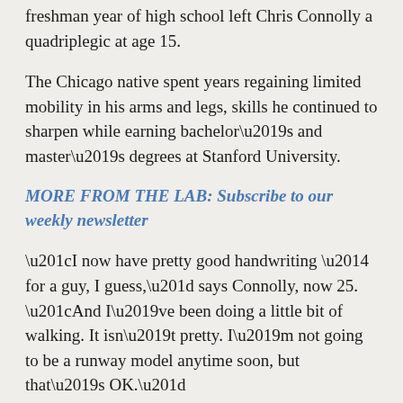freshman year of high school left Chris Connolly a quadriplegic at age 15.
The Chicago native spent years regaining limited mobility in his arms and legs, skills he continued to sharpen while earning bachelor’s and master’s degrees at Stanford University.
MORE FROM THE LAB: Subscribe to our weekly newsletter
“I now have pretty good handwriting — for a guy, I guess,” says Connolly, now 25. “And I’ve been doing a little bit of walking. It isn’t pretty. I’m not going to be a runway model anytime soon, but that’s OK.”
But when researching medical schools, Connolly